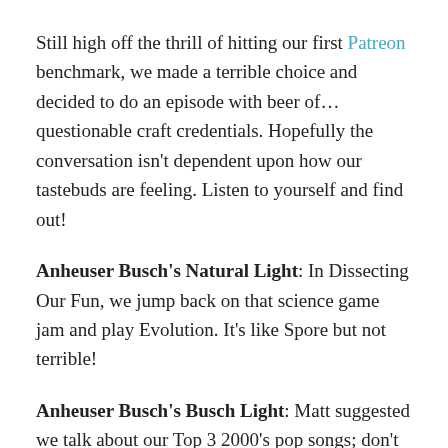Still high off the thrill of hitting our first Patreon benchmark, we made a terrible choice and decided to do an episode with beer of…questionable craft credentials. Hopefully the conversation isn't dependent upon how our tastebuds are feeling. Listen to yourself and find out!
Anheuser Busch's Natural Light: In Dissecting Our Fun, we jump back on that science game jam and play Evolution. It's like Spore but not terrible!
Anheuser Busch's Busch Light: Matt suggested we talk about our Top 3 2000's pop songs; don't mind if we do! We're off to the Jukebox in Back.